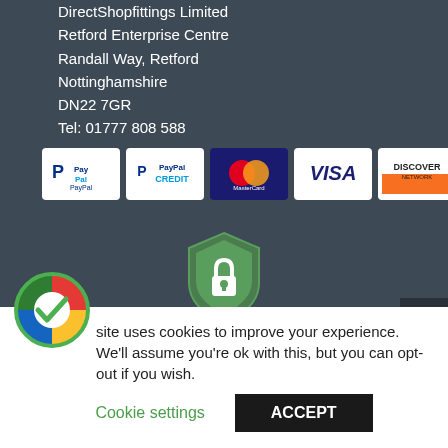DirectShopfittings Limited
Retford Enterprise Centre
Randall Way, Retford
Nottinghamshire
DN22 7GR
Tel: 01777 808 588
[Figure (logo): Payment method logos: PayPal, PayPal Credit, MasterCard, VISA, Discover Network, American Express]
[Figure (illustration): Green shield with padlock icon - security badge]
Registered in England & Wales: 0709 3649
[Figure (logo): Colorful circular checkmark logo (Google-style rainbow colors with green checkmark)]
site uses cookies to improve your experience. We'll assume you're ok with this, but you can opt-out if you wish.
Cookie settings
ACCEPT